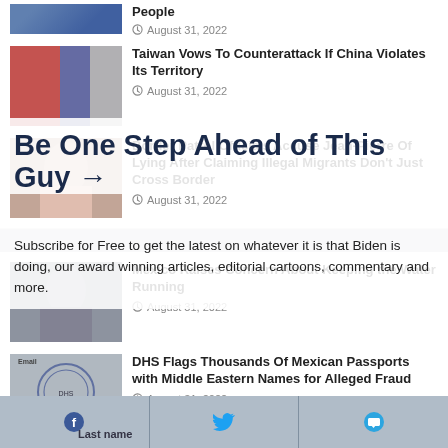People — August 31, 2022
[Figure (photo): Thumbnail image for Taiwan Vows To Counterattack If China Violates Its Territory article]
Taiwan Vows To Counterattack If China Violates Its Territory — August 31, 2022
[Figure (photo): Thumbnail image for Border Patrol Officials Accuse Jean-Pierre Of Lying After Claiming Illegal Migrants Don't Just Cross Border article]
Border Patrol Officials Accuse Jean-Pierre Of Lying After Claiming Illegal Migrants Don't Just Cross Border — August 31, 2022
Be One Step Ahead of This Guy →
Subscribe for Free to get the latest on whatever it is that Biden is doing, our award winning articles, editorial cartoons, commentary and more.
[Figure (photo): Thumbnail image for Mexico Raises Concern About Keeping the Water Running article]
Mexico Raises Concern About Keeping the Water Running — August 31, 2022
[Figure (photo): DHS seal / passport thumbnail for DHS Flags Thousands Of Mexican Passports with Middle Eastern Names for Alleged Fraud]
DHS Flags Thousands Of Mexican Passports with Middle Eastern Names for Alleged Fraud — August 31, 2022
Email  [Facebook]  [Twitter]  [Telegram]  Last name